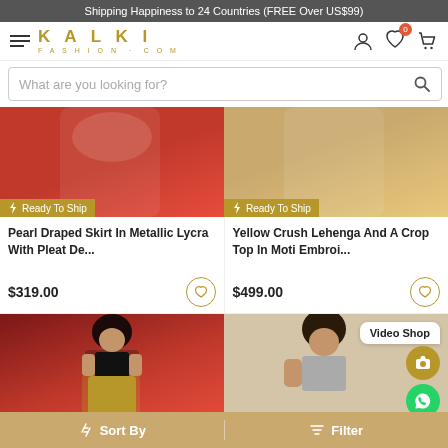Shipping Happiness to 24 Countries (FREE Over US$99)
[Figure (screenshot): Kalki Fashion website navigation bar with hamburger menu, KALKI FASHION.COM logo in gold, and user/wishlist/cart icons]
What are you looking for?
[Figure (photo): Pearl Draped Skirt product photo on red background with Ready To Ship badge]
[Figure (photo): Yellow Crush Lehenga And A Crop Top product photo on tan/gold background with Ready To Ship badge]
Pearl Draped Skirt In Metallic Lycra With Pleat De...
$319.00
Yellow Crush Lehenga And A Crop Top In Moti Embroi...
$499.00
[Figure (photo): Model in black crop top with gold skirt on red background]
[Figure (photo): Model in silver embellished lehenga on beige background with Video Shop bubble and WhatsApp/camera buttons]
Sort By   Filter